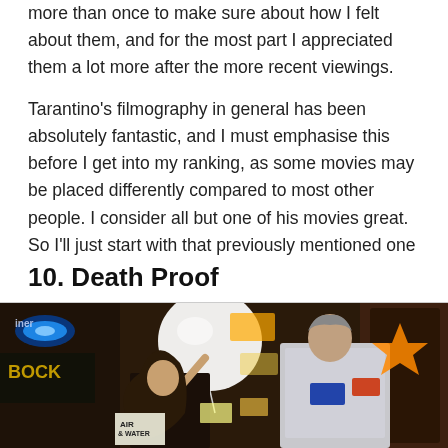more than once to make sure about how I felt about them, and for the most part I appreciated them a lot more after the more recent viewings.
Tarantino's filmography in general has been absolutely fantastic, and I must emphasise this before I get into my ranking, as some movies may be placed differently compared to most other people. I consider all but one of his movies great. So I'll just start with that previously mentioned one movie that doesn't really work that well for me.
10. Death Proof
[Figure (photo): A scene from Death Proof showing a young woman with long curly hair reaching up toward a large white balloon, while a man in a racing jacket leans toward her inside what appears to be a bar with neon signs including 'BOCK' and other bar signage visible in the background.]